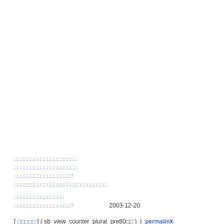Thai script text block (sidebar/nav content)
2003-12-20
[ ████ ] ( sb_view_counter_plural_pre80██ )  |  permalink
About us.
2006, April01, Saturday, 06:32 AM - Daily ██
About us.